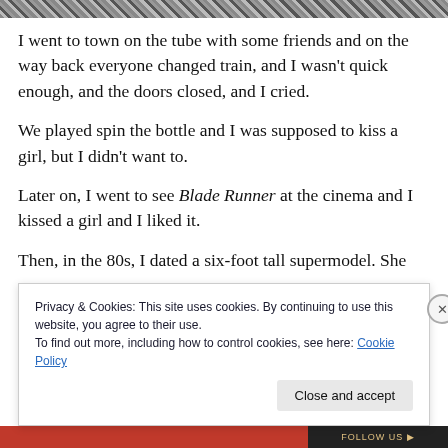[Figure (other): Hatched diagonal stripe pattern image at top of page]
I went to town on the tube with some friends and on the way back everyone changed train, and I wasn't quick enough, and the doors closed, and I cried.
We played spin the bottle and I was supposed to kiss a girl, but I didn't want to.
Later on, I went to see Blade Runner at the cinema and I kissed a girl and I liked it.
Then, in the 80s, I dated a six-foot tall supermodel. She
Privacy & Cookies: This site uses cookies. By continuing to use this website, you agree to their use.
To find out more, including how to control cookies, see here: Cookie Policy
[Figure (other): Bottom bar with orange/red and dark section with text]